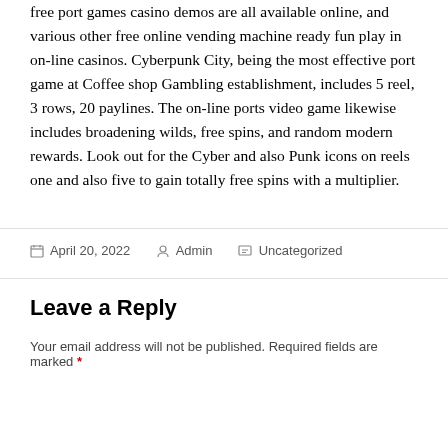free port games casino demos are all available online, and various other free online vending machine ready fun play in on-line casinos. Cyberpunk City, being the most effective port game at Coffee shop Gambling establishment, includes 5 reel, 3 rows, 20 paylines. The on-line ports video game likewise includes broadening wilds, free spins, and random modern rewards. Look out for the Cyber and also Punk icons on reels one and also five to gain totally free spins with a multiplier.
Posted on April 20, 2022 By Admin Categories Uncategorized
Leave a Reply
Your email address will not be published. Required fields are marked *